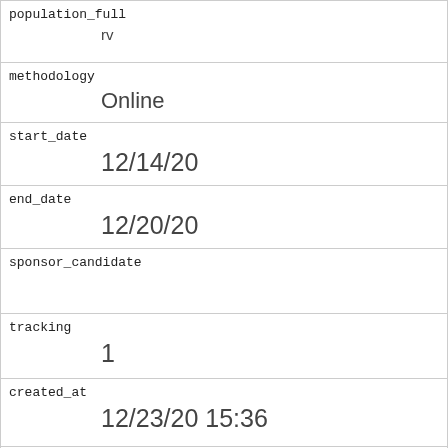| population_full | rv |
| methodology | Online |
| start_date | 12/14/20 |
| end_date | 12/20/20 |
| sponsor_candidate |  |
| tracking | 1 |
| created_at | 12/23/20 15:36 |
| notes |  |
| url | https://morningconsult.com/form/global-leader-approval/#section-61 |
| source |  |